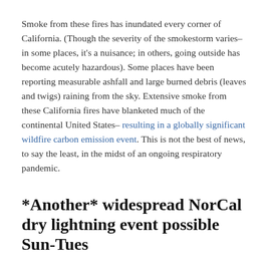Smoke from these fires has inundated every corner of California. (Though the severity of the smokestorm varies–in some places, it's a nuisance; in others, going outside has become acutely hazardous). Some places have been reporting measurable ashfall and large burned debris (leaves and twigs) raining from the sky. Extensive smoke from these California fires have blanketed much of the continental United States– resulting in a globally significant wildfire carbon emission event. This is not the best of news, to say the least, in the midst of an ongoing respiratory pandemic.
*Another* widespread NorCal dry lightning event possible Sun-Tues
I wish I had better news. I really do. This post is actually hard to write, especially knowing how much wildfire-related trauma many folks who read this blog have endured. Some comments